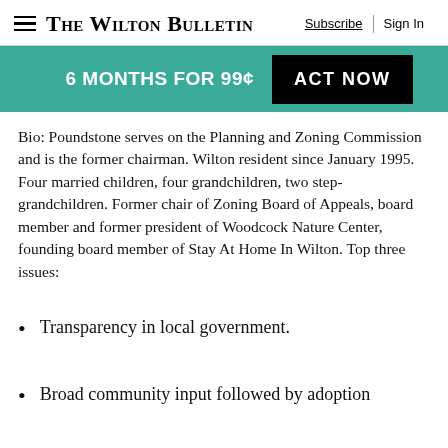The Wilton Bulletin | Subscribe | Sign In
[Figure (infographic): Promotional banner: 6 MONTHS FOR 99¢ ACT NOW on teal background]
Bio: Poundstone serves on the Planning and Zoning Commission and is the former chairman. Wilton resident since January 1995. Four married children, four grandchildren, two step-grandchildren. Former chair of Zoning Board of Appeals, board member and former president of Woodcock Nature Center, founding board member of Stay At Home In Wilton. Top three issues:
Transparency in local government.
Broad community input followed by adoption